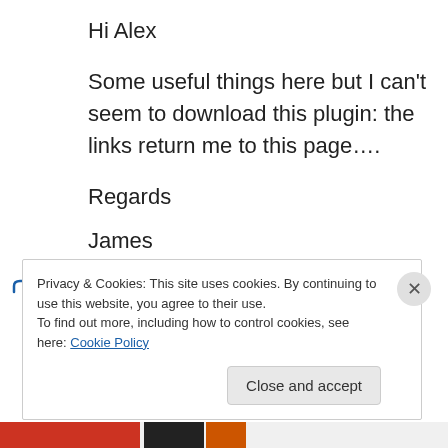Hi Alex
Some useful things here but I can't seem to download this plugin: the links return me to this page….
Regards
James
↳ Reply
Privacy & Cookies: This site uses cookies. By continuing to use this website, you agree to their use.
To find out more, including how to control cookies, see here: Cookie Policy